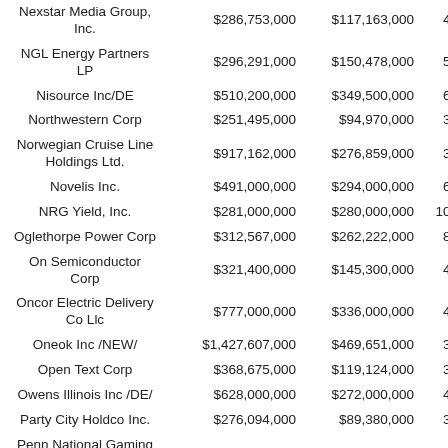| Company | Total Debt | Senior Secured Debt | % Senior Secured |
| --- | --- | --- | --- |
| Nexstar Media Group, Inc. | $286,753,000 | $117,163,000 | 41% |
| NGL Energy Partners LP | $296,291,000 | $150,478,000 | 51% |
| Nisource Inc/DE | $510,200,000 | $349,500,000 | 69% |
| Northwestern Corp | $251,495,000 | $94,970,000 | 38% |
| Norwegian Cruise Line Holdings Ltd. | $917,162,000 | $276,859,000 | 30% |
| Novelis Inc. | $491,000,000 | $294,000,000 | 60% |
| NRG Yield, Inc. | $281,000,000 | $280,000,000 | 100% |
| Oglethorpe Power Corp | $312,567,000 | $262,222,000 | 84% |
| On Semiconductor Corp | $321,400,000 | $145,300,000 | 45% |
| Oncor Electric Delivery Co Llc | $777,000,000 | $336,000,000 | 43% |
| Oneok Inc /NEW/ | $1,427,607,000 | $469,651,000 | 33% |
| Open Text Corp | $368,675,000 | $119,124,000 | 32% |
| Owens Illinois Inc /DE/ | $628,000,000 | $272,000,000 | 43% |
| Party City Holdco Inc. | $276,094,000 | $89,380,000 | 32% |
| Penn National Gaming Inc | $555,674,000 | $459,243,000 | 83% |
| PG&E Corp | $2,268,000,000 | $829,000,000 | 37% |
| Plains All American | $1,000,000,000 | $407,000,000 |  |